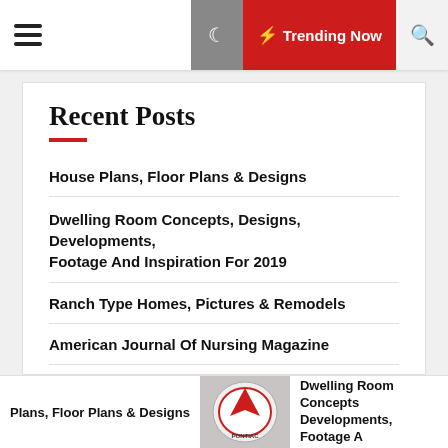☰  🌙  ⚡ Trending Now  🔍
Recent Posts
House Plans, Floor Plans & Designs
Dwelling Room Concepts, Designs, Developments, Footage And Inspiration For 2019
Ranch Type Homes, Pictures & Remodels
American Journal Of Nursing Magazine
Residential
Plans, Floor Plans & Designs   Dwelling Room Concepts Developments, Footage A